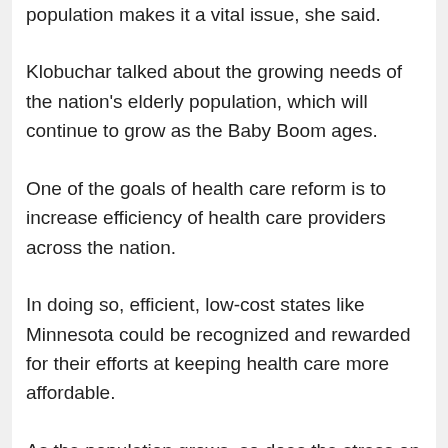population makes it a vital issue, she said.
Klobuchar talked about the growing needs of the nation's elderly population, which will continue to grow as the Baby Boom ages.
One of the goals of health care reform is to increase efficiency of health care providers across the nation.
In doing so, efficient, low-cost states like Minnesota could be recognized and rewarded for their efforts at keeping health care more affordable.
As the population grows, so does the stress on infrastructure, providers and providers